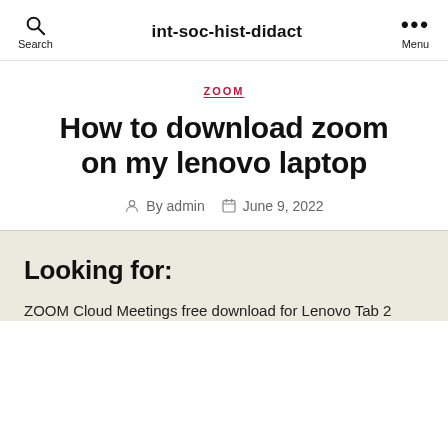int-soc-hist-didact
ZOOM
How to download zoom on my lenovo laptop
By admin  June 9, 2022
Looking for:
ZOOM Cloud Meetings free download for Lenovo Tab 2